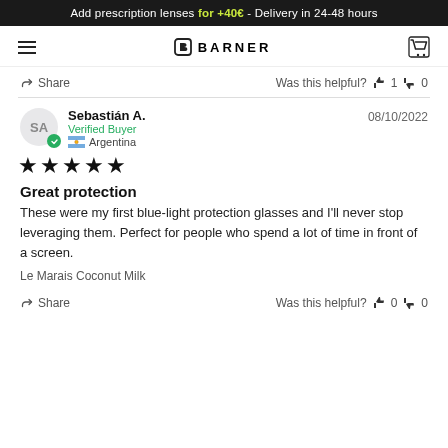Add prescription lenses for +40€ - Delivery in 24-48 hours
[Figure (logo): Barner brand logo with hamburger menu and cart icon]
Share  Was this helpful? 👍 1 👎 0
Sebastián A. — Verified Buyer — Argentina — 08/10/2022 — ★★★★★
Great protection
These were my first blue-light protection glasses and I'll never stop leveraging them. Perfect for people who spend a lot of time in front of a screen.
Le Marais Coconut Milk
Share  Was this helpful? 👍 0 👎 0